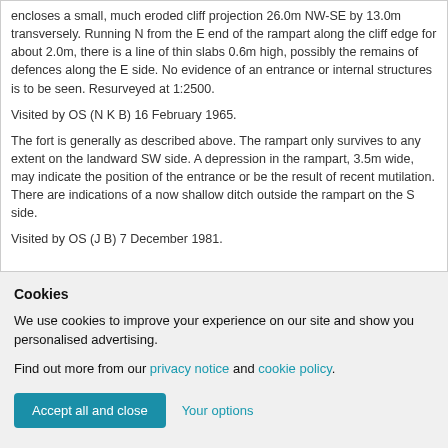encloses a small, much eroded cliff projection 26.0m NW-SE by 13.0m transversely. Running N from the E end of the rampart along the cliff edge for about 2.0m, there is a line of thin slabs 0.6m high, possibly the remains of defences along the E side. No evidence of an entrance or internal structures is to be seen. Resurveyed at 1:2500.
Visited by OS (N K B) 16 February 1965.
The fort is generally as described above. The rampart only survives to any extent on the landward SW side. A depression in the rampart, 3.5m wide, may indicate the position of the entrance or be the result of recent mutilation. There are indications of a now shallow ditch outside the rampart on the S side.
Visited by OS (J B) 7 December 1981.
Cookies
We use cookies to improve your experience on our site and show you personalised advertising.
Find out more from our privacy notice and cookie policy.